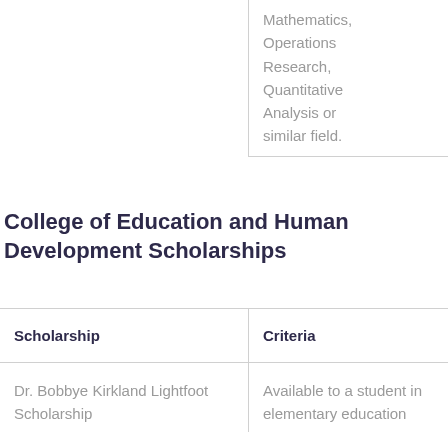| Scholarship | Criteria |
| --- | --- |
|  | Mathematics, Operations Research, Quantitative Analysis or similar field. |
College of Education and Human Development Scholarships
| Scholarship | Criteria |
| --- | --- |
| Dr. Bobbye Kirkland Lightfoot Scholarship | Available to a student in elementary education... |